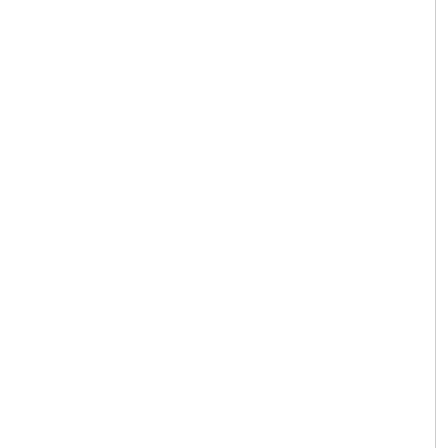Anthropology classes when discussing brains, and knees are in a fucked up ar...
Narrower hips provide a better angle for us upright and able to walk. Bigger cran gave us a cognitive advantage like tool hips need to be wider to accommodate femur meet the knee at an angle that ma strenuous on the joint. If you can't run a enough to catch your prey, it doesn't ma accommodate a big headed baby with s you get to use them.
Human infants are already born relative placental mammals so the baby really c is smaller. Losing brain mass to make th intelligence and that's what's getting hu But you'll never survive to reproduce if y upright and use your hands to manipula
So through the trial and error of who sur survive in a very loose sense here since rate, human female pelvises had to mee with almost no room to spare when...